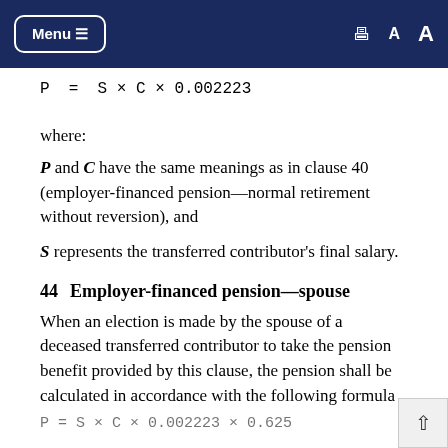Menu ≡ [print] A A
where:
P and C have the same meanings as in clause 40 (employer-financed pension—normal retirement without reversion), and
S represents the transferred contributor's final salary.
44  Employer-financed pension—spouse
When an election is made by the spouse of a deceased transferred contributor to take the pension benefit provided by this clause, the pension shall be calculated in accordance with the following formula